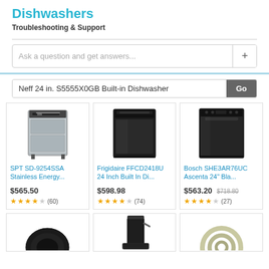Dishwashers
Troubleshooting & Support
Ask a question and get answers...
Neff 24 in. S5555X0GB Built-in Dishwasher
[Figure (screenshot): Product card: SPT SD-9254SSA stainless energy dishwasher image]
SPT SD-9254SSA Stainless Energy...
$565.50
3.5 stars (60)
[Figure (screenshot): Product card: Frigidaire FFCD2418U 24 Inch Built In dishwasher image]
Frigidaire FFCD2418U 24 Inch Built In Di...
$598.98
4 stars (74)
[Figure (screenshot): Product card: Bosch SHE3AR76UC Ascenta 24 inch Black dishwasher image]
Bosch SHE3AR76UC Ascenta 24" Bla...
$563.20 $718.80
3.5 stars (27)